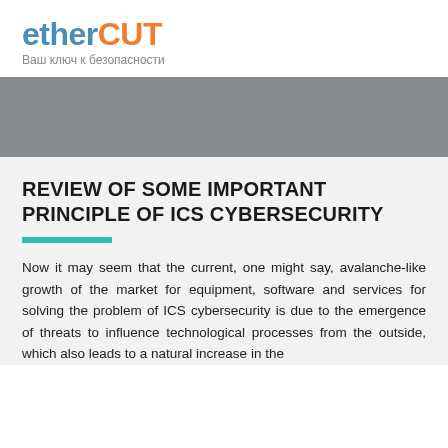etherCUT — Ваш ключ к безопасности
[Figure (illustration): Gray banner/decorative header band]
REVIEW OF SOME IMPORTANT PRINCIPLE OF ICS CYBERSECURITY
Now it may seem that the current, one might say, avalanche-like growth of the market for equipment, software and services for solving the problem of ICS cybersecurity is due to the emergence of threats to influence technological processes from the outside, which also leads to a natural increase in the